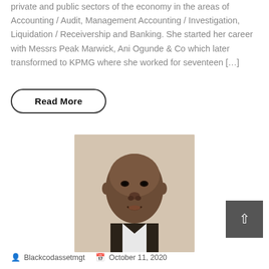private and public sectors of the economy in the areas of Accounting / Audit, Management Accounting / Investigation, Liquidation / Receivership and Banking. She started her career with Messrs Peak Marwick, Ani Ogunde & Co which later transformed to KPMG where she worked for seventeen [...]
Read More
[Figure (photo): Headshot portrait of a man in professional attire against a white background]
Blackcodassetmgt   October 11, 2020